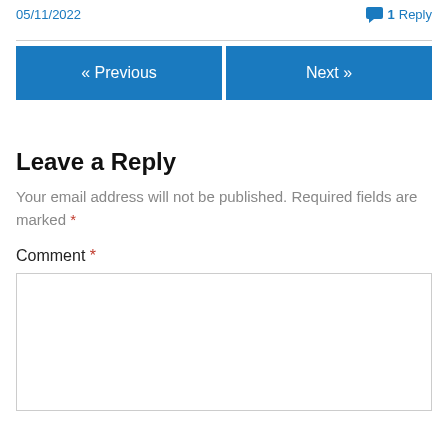05/11/2022
1 Reply
« Previous
Next »
Leave a Reply
Your email address will not be published. Required fields are marked *
Comment *